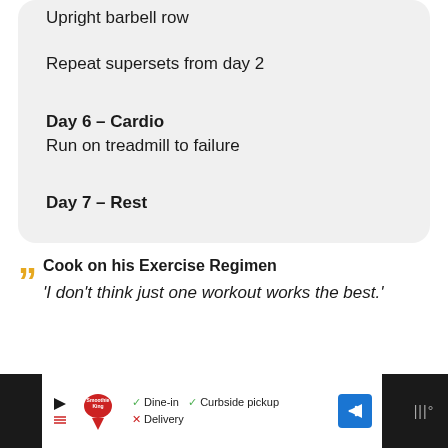Upright barbell row
Repeat supersets from day 2
Day 6 – Cardio
Run on treadmill to failure
Day 7 – Rest
Cook on his Exercise Regimen
'I don't think just one workout works the best.'
[Figure (infographic): Advertisement bar showing Smoothie King logo with dine-in, curbside pickup, delivery options and navigation arrow icon]